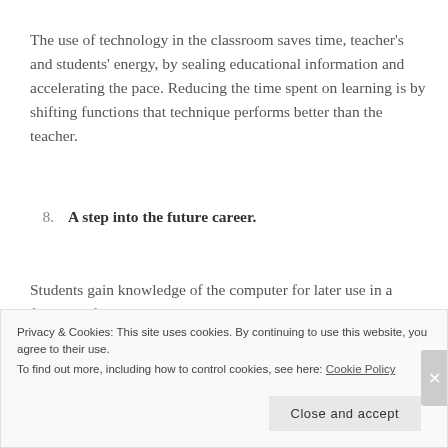The use of technology in the classroom saves time, teacher's and students' energy, by sealing educational information and accelerating the pace. Reducing the time spent on learning is by shifting functions that technique performs better than the teacher.
8.   A step into the future career.
Students gain knowledge of the computer for later use in a future profession, but they do it today. They illustrate the
Privacy & Cookies: This site uses cookies. By continuing to use this website, you agree to their use.
To find out more, including how to control cookies, see here: Cookie Policy
Close and accept